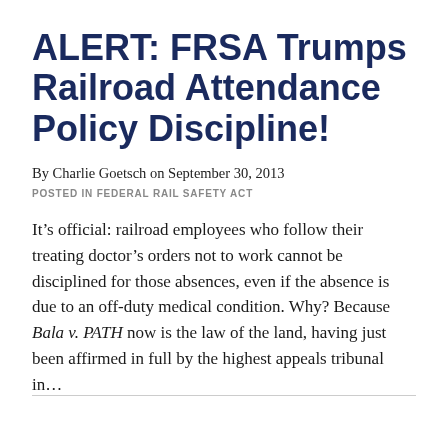ALERT: FRSA Trumps Railroad Attendance Policy Discipline!
By Charlie Goetsch on September 30, 2013
POSTED IN FEDERAL RAIL SAFETY ACT
It’s official: railroad employees who follow their treating doctor’s orders not to work cannot be disciplined for those absences, even if the absence is due to an off-duty medical condition. Why? Because Bala v. PATH now is the law of the land, having just been affirmed in full by the highest appeals tribunal in…